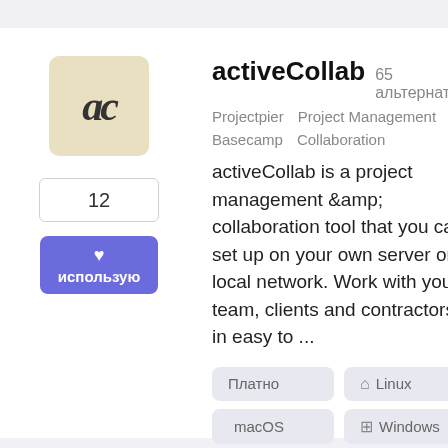[Figure (logo): activeCollab logo: stylized 'ac' letters in bold on cream/yellow background]
12
♥ использую
activeCollab  65 альтернатив
Projectpier   Project Management   Basecamp   Collaboration
activeCollab is a project management &amp; collaboration tool that you can set up on your own server or local network. Work with your team, clients and contractors in easy to ...
Платно
Linux
macOS
Windows
Онлайн Сервис